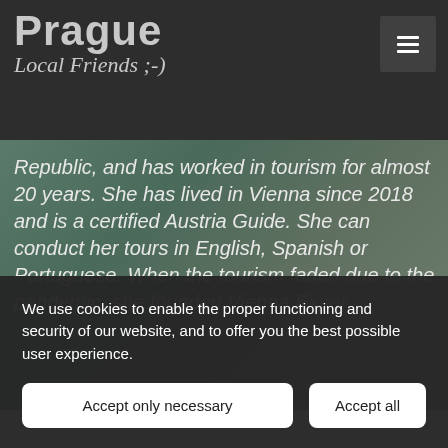Prague Local Friends ;-)
Republic, and has worked in tourism for almost 20 years. She has lived in Vienna since 2018 and is a certified Austria Guide. She can conduct her tours in English, Spanish or Portuguese. When the tourism faded due to the pandemic, she founded Vienna Expat
We use cookies to enable the proper functioning and security of our website, and to offer you the best possible user experience.